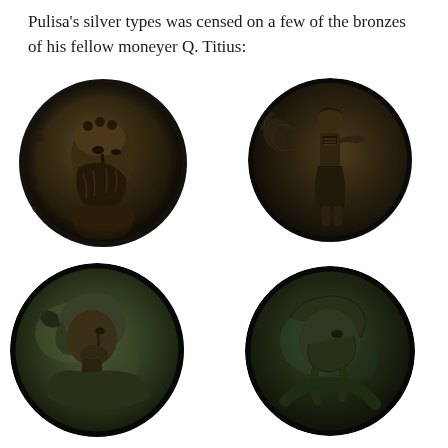Pulisa's silver types was censed on a few of the bronzes of his fellow moneyer Q. Titius:
[Figure (photo): Four ancient Roman bronze coins arranged in a 2x2 grid. Top left: obverse showing a bearded male head with decorative dots around the rim. Top right: reverse showing a standing figure (possibly Victory or a deity) with wings or drapery. Bottom left: obverse showing a helmeted head facing right. Bottom right: obverse showing a head facing right with detailed features.]